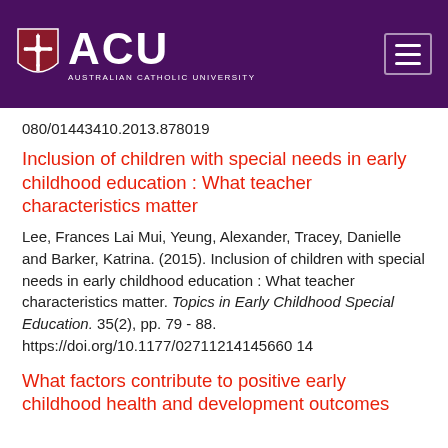[Figure (logo): Australian Catholic University (ACU) logo and navigation header bar with purple background, ACU shield logo, ACU text, and hamburger menu icon]
080/01443410.2013.878019
Inclusion of children with special needs in early childhood education : What teacher characteristics matter
Lee, Frances Lai Mui, Yeung, Alexander, Tracey, Danielle and Barker, Katrina. (2015). Inclusion of children with special needs in early childhood education : What teacher characteristics matter. Topics in Early Childhood Special Education. 35(2), pp. 79 - 88. https://doi.org/10.1177/027112141456601 4
What factors contribute to positive early childhood health and development outcomes